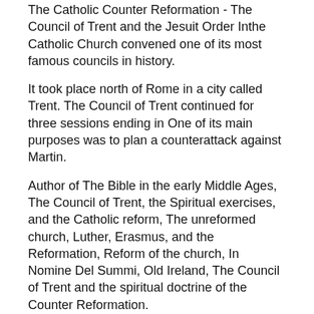The Catholic Counter Reformation - The Council of Trent and the Jesuit Order Inthe Catholic Church convened one of its most famous councils in history.
It took place north of Rome in a city called Trent. The Council of Trent continued for three sessions ending in One of its main purposes was to plan a counterattack against Martin.
Author of The Bible in the early Middle Ages, The Council of Trent, the Spiritual exercises, and the Catholic reform, The unreformed church, Luther, Erasmus, and the Reformation, Reform of the church, In Nomine Del Summi, Old Ireland, The Council of Trent and the spiritual doctrine of the Counter Reformation.
Convening in ,the Council of Trent was the first formal answer to the Reformation. Reacting to the Protestant challenge, it reaffirmed the codified Catholic doctrine. To disseminate the Council's proceedings, Jacob Andrada wrote an explanation that is recognized as the authoritative interpretation of the Council's Canons and Decrees.